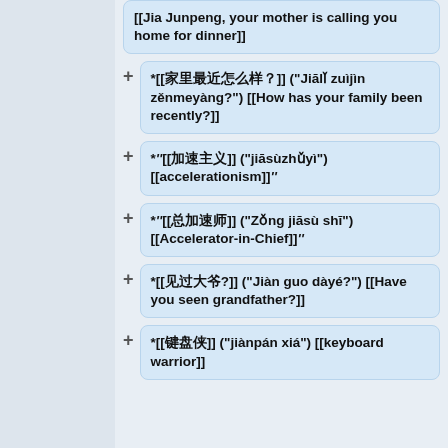[[Jia Junpeng, your mother is calling you home for dinner]]
*[[家里最近怎么样？]] ("Jiālǐ zuìjìn zěnmeyàng?") [[How has your family been recently?]]
*"'[[加速主义]] ("jiāsùzhǔyì") [[accelerationism]]"'
*"'[[总加速师]] ("Zǒng jiāsù shī") [[Accelerator-in-Chief]]"'
*[[见过大爷?]] ("Jiàn guo dàyé?") [[Have you seen grandfather?]]
*[[键盘侠]] ("jiànpán xiá") [[keyboard warrior]]